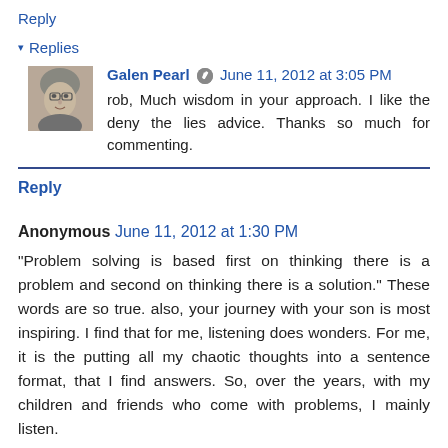Reply
▾ Replies
Galen Pearl 🖊 June 11, 2012 at 3:05 PM
rob, Much wisdom in your approach. I like the deny the lies advice. Thanks so much for commenting.
Reply
Anonymous June 11, 2012 at 1:30 PM
"Problem solving is based first on thinking there is a problem and second on thinking there is a solution." These words are so true. also, your journey with your son is most inspiring. I find that for me, listening does wonders. For me, it is the putting all my chaotic thoughts into a sentence format, that I find answers. So, over the years, with my children and friends who come with problems, I mainly listen. I rarely attempt to begin thinking or thinking...